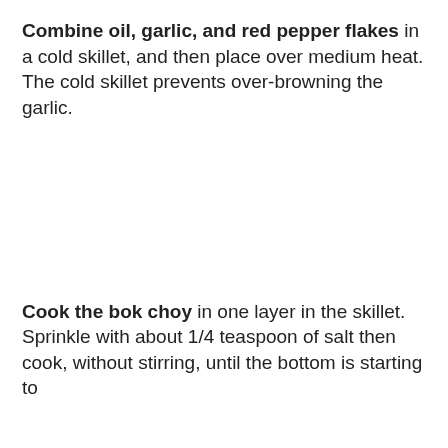Combine oil, garlic, and red pepper flakes in a cold skillet, and then place over medium heat. The cold skillet prevents over-browning the garlic.
Cook the bok choy in one layer in the skillet. Sprinkle with about 1/4 teaspoon of salt then cook, without stirring, until the bottom is starting to